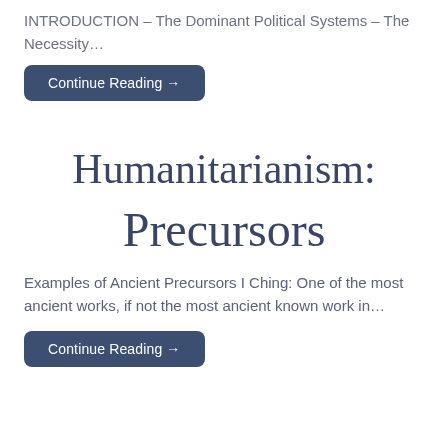INTRODUCTION – The Dominant Political Systems – The Necessity…
Continue Reading →
Humanitarianism: Precursors
Examples of Ancient Precursors I Ching: One of the most ancient works, if not the most ancient known work in…
Continue Reading →